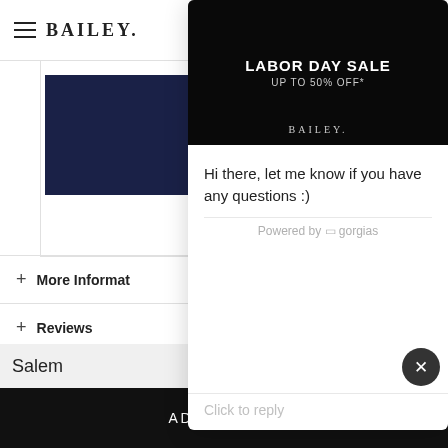[Figure (screenshot): Website header with hamburger menu, BAILEY brand name, and bag icon]
[Figure (photo): Product image area with navy blue rectangular swatch]
+ More Information
+ Reviews
[Figure (screenshot): Upload/back-to-top circular arrow icon in square box]
ther Custo
[Figure (screenshot): Chat popup overlay showing LABOR DAY SALE UP TO 50% OFF* banner with BAILEY logo, chat message 'Hi there, let me know if you have any questions :)', Powered by gorgias, Click to reply]
Salem
Starting at $75.00
ADD TO BAG